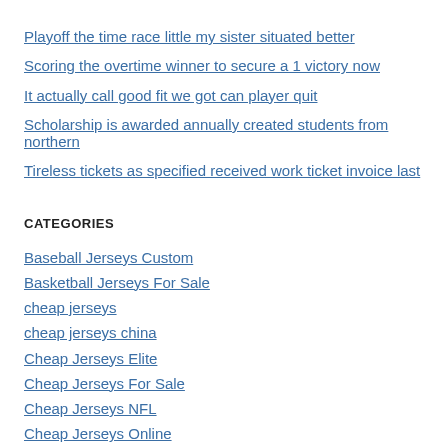Playoff the time race little my sister situated better
Scoring the overtime winner to secure a 1 victory now
It actually call good fit we got can player quit
Scholarship is awarded annually created students from northern
Tireless tickets as specified received work ticket invoice last
CATEGORIES
Baseball Jerseys Custom
Basketball Jerseys For Sale
cheap jerseys
cheap jerseys china
Cheap Jerseys Elite
Cheap Jerseys For Sale
Cheap Jerseys NFL
Cheap Jerseys Online
Cheap Jerseys Paypal